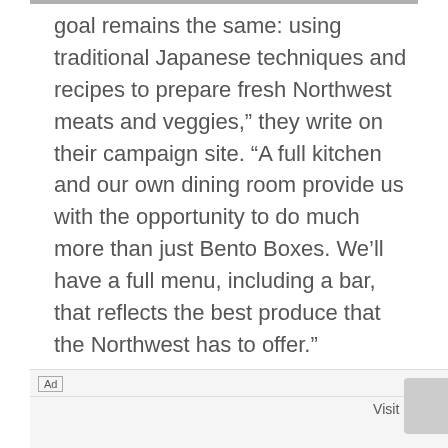goal remains the same: using traditional Japanese techniques and recipes to prepare fresh Northwest meats and veggies,” they write on their campaign site. “A full kitchen and our own dining room provide us with the opportunity to do much more than just Bento Boxes. We’ll have a full menu, including a bar, that reflects the best produce that the Northwest has to offer.”
Ad  Visit Site